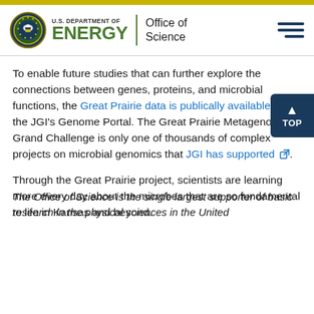U.S. DEPARTMENT OF ENERGY | Office of Science
To enable future studies that can further explore the connections between genes, proteins, and microbial functions, the Great Prairie data is publically available in the JGI's Genome Portal. The Great Prairie Metagenome Grand Challenge is only one of thousands of complex projects on microbial genomics that JGI has supported.
Through the Great Prairie project, scientists are learning more every day about the microbes that are so fundamental to life in Kansas and beyond.
The Office of Science is the single largest supporter of basic research in the physical sciences in the United